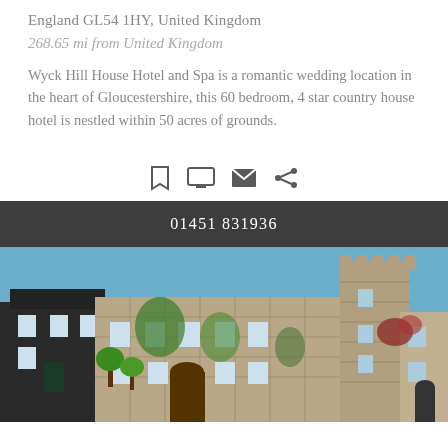England GL54 1HY, United Kingdom
268.65 mi from United Kingdom
Wyck Hill House Hotel and Spa is a romantic wedding location in the heart of Gloucestershire, this 60 bedroom, 4 star country house hotel is nestled within 50 acres of grounds.
[Figure (infographic): Row of icons: bookmark, monitor/screen, envelope, share]
01451 831936
[Figure (photo): Exterior photo of Wyck Hill House Hotel showing stone castle-like building with tower, ivy-covered walls, and blue sky]